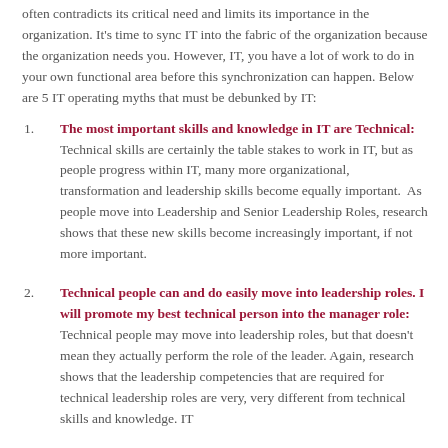often contradicts its critical need and limits its importance in the organization. It's time to sync IT into the fabric of the organization because the organization needs you. However, IT, you have a lot of work to do in your own functional area before this synchronization can happen. Below are 5 IT operating myths that must be debunked by IT:
The most important skills and knowledge in IT are Technical: Technical skills are certainly the table stakes to work in IT, but as people progress within IT, many more organizational, transformation and leadership skills become equally important.  As people move into Leadership and Senior Leadership Roles, research shows that these new skills become increasingly important, if not more important.
Technical people can and do easily move into leadership roles. I will promote my best technical person into the manager role: Technical people may move into leadership roles, but that doesn't mean they actually perform the role of the leader. Again, research shows that the leadership competencies that are required for technical leadership roles are very, very different from technical skills and knowledge. IT